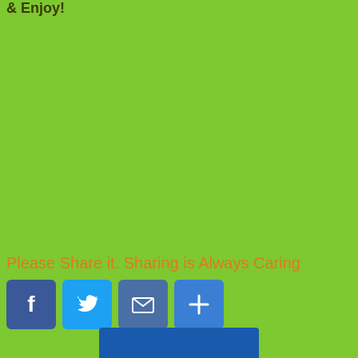& Enjoy!
Please Share it. Sharing is Always Caring
[Figure (other): Social sharing buttons: Facebook, Twitter, Email, More (plus icon)]
[Figure (other): Blue button bar at bottom center]